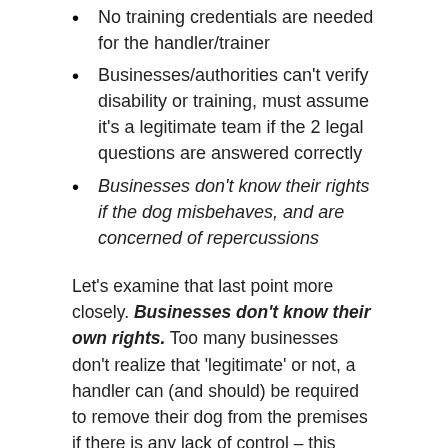No training credentials are needed for the handler/trainer
Businesses/authorities can't verify disability or training, must assume it's a legitimate team if the 2 legal questions are answered correctly
Businesses don't know their rights if the dog misbehaves, and are concerned of repercussions
Let's examine that last point more closely. Businesses don't know their own rights. Too many businesses don't realize that 'legitimate' or not, a handler can (and should) be required to remove their dog from the premises if there is any lack of control – this includes a dog vocalizing, pulling on the leash, not responding to the handler's cues, using the bathroom inappropriately, etc. A dog can (and should) be removed for any display of protection/aggression/reactivity, or in any way interfering with members of the public. A dog can (and should)